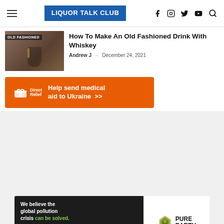LIQUOR TALK CLUB
How To Make An Old Fashioned Drink With Whiskey
Andrew J  –  December 24, 2021
[Figure (illustration): Orange advertisement banner for Direct Relief: Help send medical aid to Ukraine >>]
[Figure (illustration): Black and white Pure Earth banner ad: We believe the global pollution crisis can be solved. In a world where pollution doesn't stop at borders, we can all be part of the solution. JOIN US.]